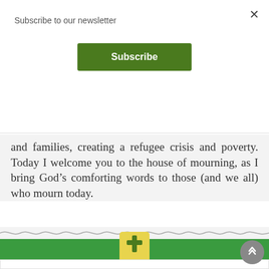Subscribe to our newsletter
Subscribe
and families, creating a refugee crisis and poverty. Today I welcome you to the house of mourning, as I bring God's comforting words to those (and we all) who mourn today.
[Figure (illustration): Wavy decorative divider line]
[Figure (illustration): Green banner with yellow Bible icon (cross on book)]
[Figure (illustration): White content box beginning at bottom, with large green quotation mark visible]